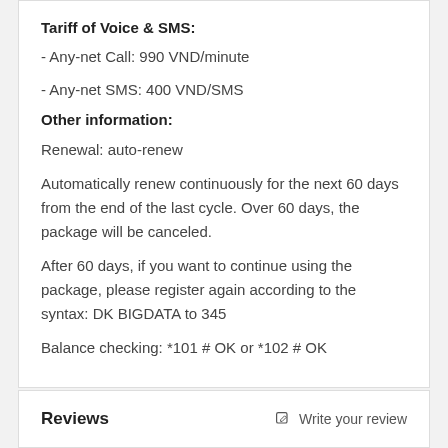Tariff of Voice & SMS:
- Any-net Call: 990 VND/minute
- Any-net SMS: 400 VND/SMS
Other information:
Renewal: auto-renew
Automatically renew continuously for the next 60 days from the end of the last cycle. Over 60 days, the package will be canceled.
After 60 days, if you want to continue using the package, please register again according to the syntax: DK BIGDATA to 345
Balance checking: *101 # OK or *102 # OK
Reviews
Write your review